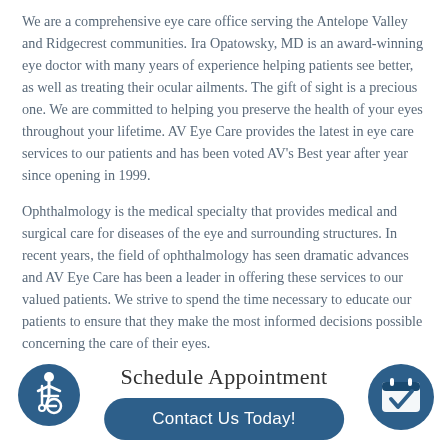We are a comprehensive eye care office serving the Antelope Valley and Ridgecrest communities. Ira Opatowsky, MD is an award-winning eye doctor with many years of experience helping patients see better, as well as treating their ocular ailments. The gift of sight is a precious one. We are committed to helping you preserve the health of your eyes throughout your lifetime. AV Eye Care provides the latest in eye care services to our patients and has been voted AV's Best year after year since opening in 1999.
Ophthalmology is the medical specialty that provides medical and surgical care for diseases of the eye and surrounding structures. In recent years, the field of ophthalmology has seen dramatic advances and AV Eye Care has been a leader in offering these services to our valued patients. We strive to spend the time necessary to educate our patients to ensure that they make the most informed decisions possible concerning the care of their eyes.
Schedule Appointment
[Figure (illustration): Accessibility icon: circular dark blue badge with a wheelchair user symbol in white]
[Figure (illustration): Calendar/appointment icon: dark blue circle with a calendar checkmark symbol in white]
Contact Us Today!